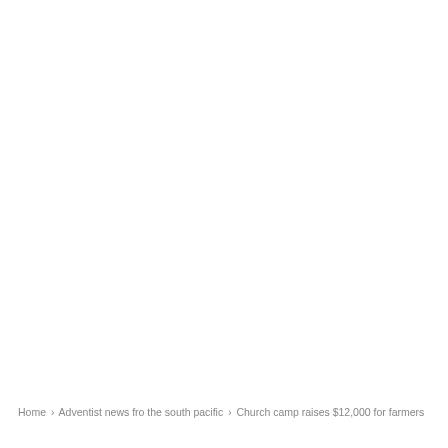Home › Adventist news fro the south pacific › Church camp raises $12,000 for farmers